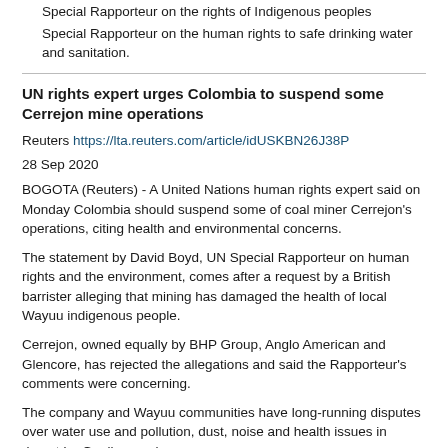Special Rapporteur on the rights of Indigenous peoples
Special Rapporteur on the human rights to safe drinking water and sanitation.
UN rights expert urges Colombia to suspend some Cerrejon mine operations
Reuters https://lta.reuters.com/article/idUSKBN26J38P
28 Sep 2020
BOGOTA (Reuters) - A United Nations human rights expert said on Monday Colombia should suspend some of coal miner Cerrejon’s operations, citing health and environmental concerns.
The statement by David Boyd, UN Special Rapporteur on human rights and the environment, comes after a request by a British barrister alleging that mining has damaged the health of local Wayuu indigenous people.
Cerrejon, owned equally by BHP Group, Anglo American and Glencore, has rejected the allegations and said the Rapporteur’s comments were concerning.
The company and Wayuu communities have long-running disputes over water use and pollution, dust, noise and health issues in desert La Guajira province.